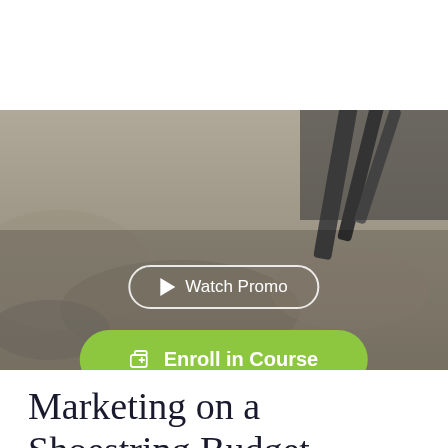[Figure (logo): Z&B Consulting Inc. logo with colorful circular design]
[Figure (photo): Hero background photo of sandy surface with pencils]
Watch Promo
Enroll in Course
Marketing on a Shoestring Budget